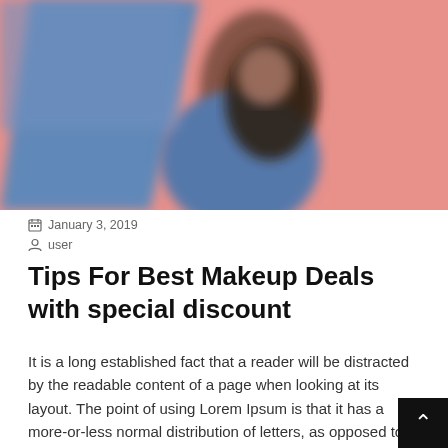[Figure (photo): Blurred photo of a woman with dark hair in a blue outfit against a pink/red background, arms raised]
January 3, 2019
user
Tips For Best Makeup Deals with special discount
It is a long established fact that a reader will be distracted by the readable content of a page when looking at its layout. The point of using Lorem Ipsum is that it has a more-or-less normal distribution of letters, as opposed to using 'Content here, content here', making it look like